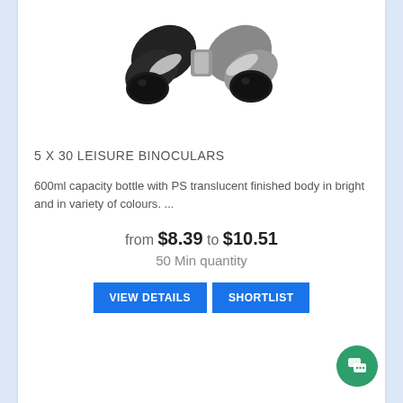[Figure (photo): Binoculars product photo — black and silver leisure binoculars viewed from the front/side angle, showing two objective lens barrels.]
5 X 30 LEISURE BINOCULARS
600ml capacity bottle with PS translucent finished body in bright and in variety of colours. ...
from $8.39 to $10.51
50 Min quantity